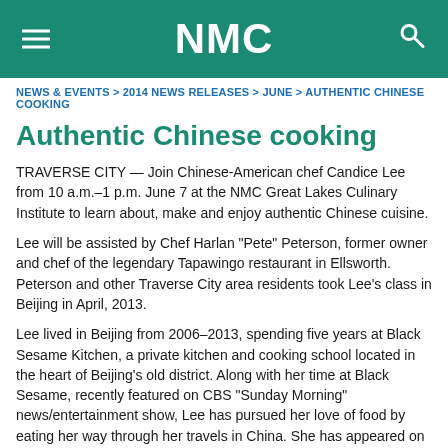NMC
NEWS & EVENTS > 2014 NEWS RELEASES > JUNE > AUTHENTIC CHINESE COOKING
Authentic Chinese cooking
TRAVERSE CITY — Join Chinese-American chef Candice Lee from 10 a.m.–1 p.m. June 7 at the NMC Great Lakes Culinary Institute to learn about, make and enjoy authentic Chinese cuisine.
Lee will be assisted by Chef Harlan "Pete" Peterson, former owner and chef of the legendary Tapawingo restaurant in Ellsworth. Peterson and other Traverse City area residents took Lee's class in Beijing in April, 2013.
Lee lived in Beijing from 2006–2013, spending five years at Black Sesame Kitchen, a private kitchen and cooking school located in the heart of Beijing's old district. Along with her time at Black Sesame, recently featured on CBS "Sunday Morning" news/entertainment show, Lee has pursued her love of food by eating her way through her travels in China. She has appeared on MSNBC and Lonely Planet TV, as well as written for Frommer's guide books.